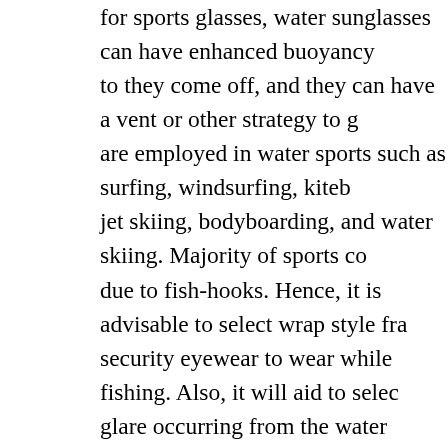for sports glasses, water sunglasses can have enhanced buoyancy to they come off, and they can have a vent or other strategy to guard are employed in water sports such as surfing, windsurfing, kiteboarding, jet skiing, bodyboarding, and water skiing. Majority of sports come due to fish-hooks. Hence, it is advisable to select wrap style frames security eyewear to wear while fishing. Also, it will aid to select glare occurring from the water surface. Along with night vision to customers in the retail market the recognition of night gear has technology solely in use by the military any more, but law enforcement and even just the typical Joe are making use of the evening vision multi functional as well utilizing image enhancement and IR technology. good news is that buyers of this gear can effortlessly find reasonable of evening devices. If you are a kind of particular person who loves excellent if you have 1 of these sorts of binocular, the night vision range of distinct things. Typically they are utilized throughout a one particular of the most popular gadgets that can be added to you women's specialist shades, the level of your shades are some as Fortunate quality women'purple frame sunglasses sunglasses ba sun, thus protecting your grappling and eyes. Mention, exposing